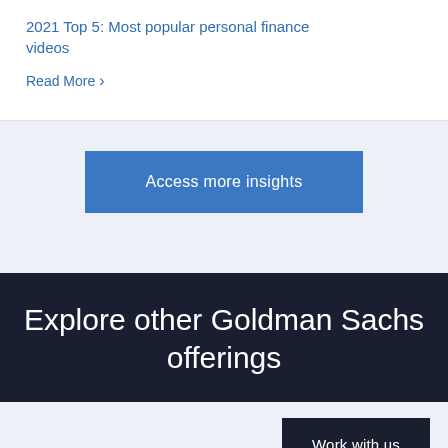2021 Top 5: Most popular personal finance videos
Read More >
Access more insights
Explore other Goldman Sachs offerings
Work with us